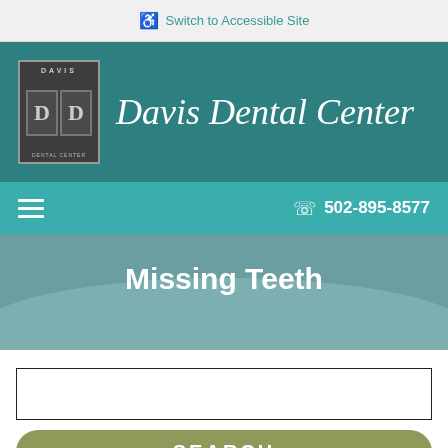Switch to Accessible Site
[Figure (logo): Davis Dental Center logo with stylized DD letters and text]
Davis Dental Center
502-895-8577
Missing Teeth
SEARCH